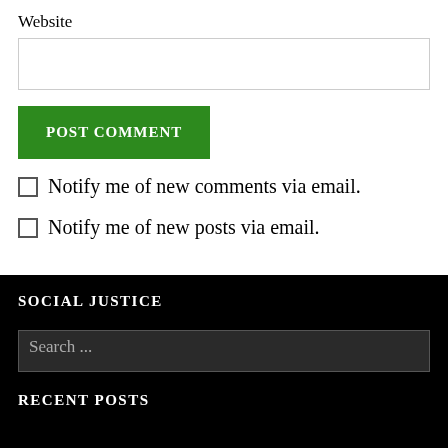Website
[Figure (other): Website text input field (empty)]
[Figure (other): POST COMMENT green button]
Notify me of new comments via email.
Notify me of new posts via email.
SOCIAL JUSTICE
[Figure (other): Search input field with placeholder text 'Search ...']
RECENT POSTS